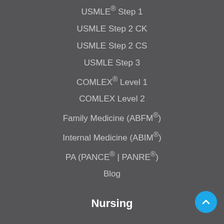USMLE® Step 1
USMLE Step 2 CK
USMLE Step 2 CS
USMLE Step 3
COMLEX® Level 1
COMLEX Level 2
Family Medicine (ABFM®)
Internal Medicine (ABIM®)
PA (PANCE® | PANRE®)
Blog
Nursing